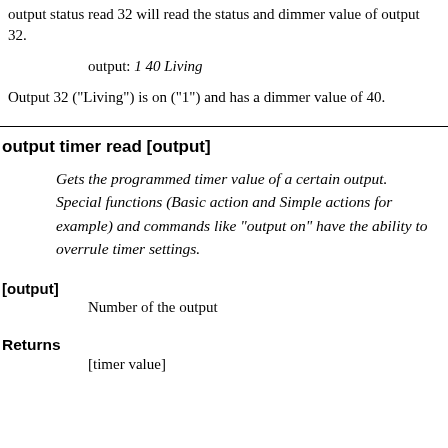output status read 32 will read the status and dimmer value of output 32.
output: 1 40 Living
Output 32 ("Living") is on ("1") and has a dimmer value of 40.
output timer read [output]
Gets the programmed timer value of a certain output. Special functions (Basic action and Simple actions for example) and commands like "output on" have the ability to overrule timer settings.
[output]
Number of the output
Returns
[timer value]